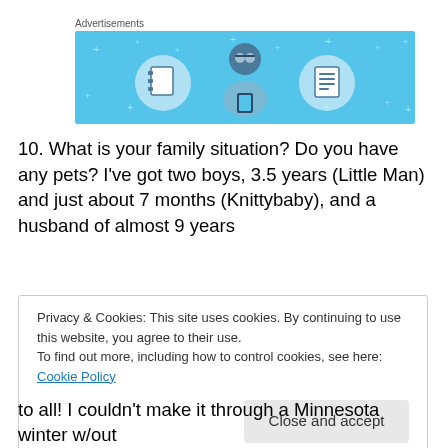Advertisements
[Figure (illustration): Advertisement banner with light blue background showing a cartoon person sitting and holding a phone, flanked by two circular icons — a notebook on the left and a document/list on the right. Small star/cross decorations scattered in background.]
10. What is your family situation? Do you have any pets? I've got two boys, 3.5 years (Little Man) and just about 7 months (Knittybaby), and a husband of almost 9 years
Privacy & Cookies: This site uses cookies. By continuing to use this website, you agree to their use.
To find out more, including how to control cookies, see here: Cookie Policy
to all! I couldn't make it through a Minnesota winter w/out